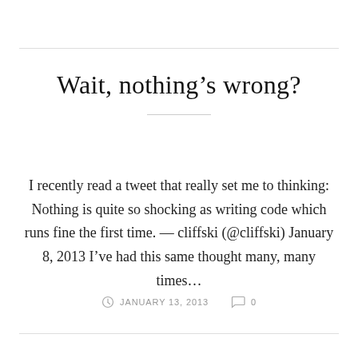Wait, nothing’s wrong?
I recently read a tweet that really set me to thinking: Nothing is quite so shocking as writing code which runs fine the first time. — cliffski (@cliffski) January 8, 2013 I’ve had this same thought many, many times…
JANUARY 13, 2013   0